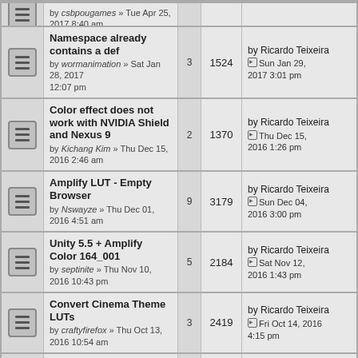Namespace already contains a def — by wormanimation » Sat Jan 28, 2017 12:07 pm | 3 replies | 1524 views | by Ricardo Teixeira, Sun Jan 29, 2017 3:01 pm
Color effect does not work with NVIDIA Shield and Nexus 9 — by Kichang Kim » Thu Dec 15, 2016 2:46 am | 2 replies | 1370 views | by Ricardo Teixeira, Thu Dec 15, 2016 1:26 pm
Amplify LUT - Empty Browser — by Nswayze » Thu Dec 01, 2016 4:51 am | 9 replies | 3179 views | by Ricardo Teixeira, Sun Dec 04, 2016 3:00 pm
Unity 5.5 + Amplify Color 164_001 — by septinite » Thu Nov 10, 2016 10:43 pm | 5 replies | 2184 views | by Ricardo Teixeira, Sat Nov 12, 2016 1:43 pm
Convert Cinema Theme LUTs — by craftyfirefox » Thu Oct 13, 2016 10:54 am | 3 replies | 2419 views | by Ricardo Teixeira, Fri Oct 14, 2016 4:15 pm
Amplify Color not working after building. — by nivisionag » Mon Aug 29, 2016 9:19 pm | 1 reply | 1217 views | by Ricardo Teixeira, Mon Aug 29, 2016 10:08 pm
Error on Package Install - CS0117: `Tonemapping' does not co — by castor » Mon Jun 06, 2016 7:28 pm | 1 reply | 1480 views | by Ricardo Teixeira, Mon Jun 06, 2016 7:59 pm
Error UnityUpgradable — by eslam.aboalo » Sun May 22, 2016 | 2 replies | 1404 views | by Ricardo Teixeira, Sun May 22